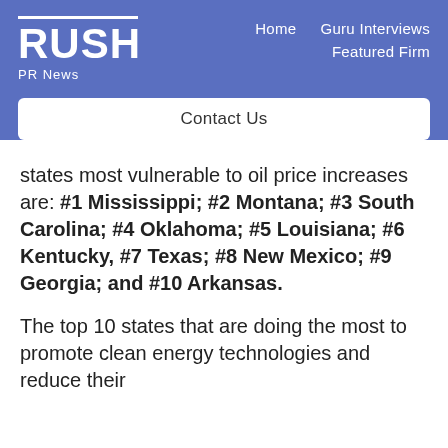RUSH PR News | Home | Guru Interviews | Featured Firm
Contact Us
states most vulnerable to oil price increases are: #1 Mississippi; #2 Montana; #3 South Carolina; #4 Oklahoma; #5 Louisiana; #6 Kentucky, #7 Texas; #8 New Mexico; #9 Georgia; and #10 Arkansas.
The top 10 states that are doing the most to promote clean energy technologies and reduce their